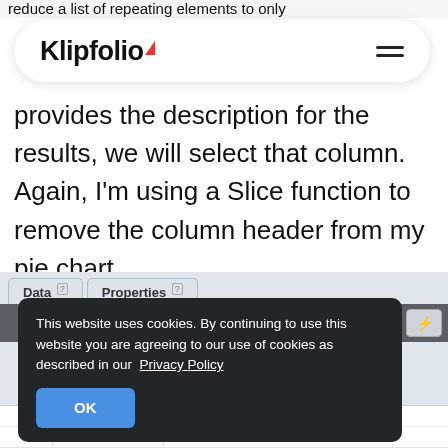reduce a list of repeating elements to only
[Figure (screenshot): Klipfolio navigation bar with logo and hamburger menu in a white pill/rounded rectangle on light background]
provides the description for the results, we will select that column. Again, I'm using a Slice function to remove the column header from my pie chart.
[Figure (screenshot): Klipfolio data editor interface showing Data and Properties tabs, toolbar with buttons, and a cookie consent overlay reading 'This website uses cookies. By continuing to use this website you are agreeing to our use of cookies as described in our Privacy Policy' with an OK button. Below are data table rows showing row 2 with 5/18/2013 and Yes, and row 3 with 4/18/2013 and Yes.]